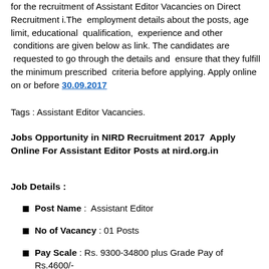for the recruitment of Assistant Editor Vacancies on Direct Recruitment i.The employment details about the posts, age limit, educational qualification, experience and other conditions are given below as link. The candidates are requested to go through the details and ensure that they fulfill the minimum prescribed criteria before applying. Apply online on or before 30.09.2017
Tags : Assistant Editor Vacancies.
Jobs Opportunity in NIRD Recruitment 2017  Apply Online For Assistant Editor Posts at nird.org.in
Job Details :
Post Name :  Assistant Editor
No of Vacancy : 01 Posts
Pay Scale : Rs. 9300-34800 plus Grade Pay of Rs.4600/-
Eligibility Criteria :